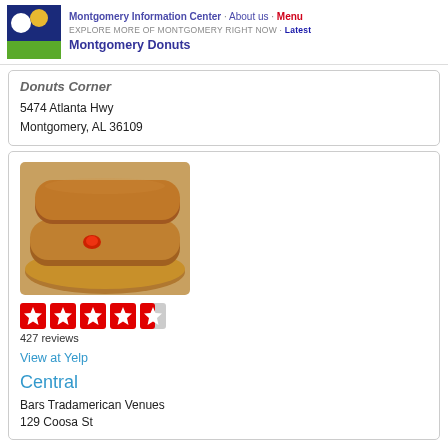Montgomery Information Center · About us · Menu
EXPLORE MORE OF MONTGOMERY RIGHT NOW · Latest
Montgomery Donuts
Donuts Corner
5474 Atlanta Hwy
Montgomery, AL 36109
[Figure (photo): Photo of stacked donuts with red jam filling, close-up shot on warm background]
427 reviews
View at Yelp
Central
Bars Tradamerican Venues
129 Coosa St